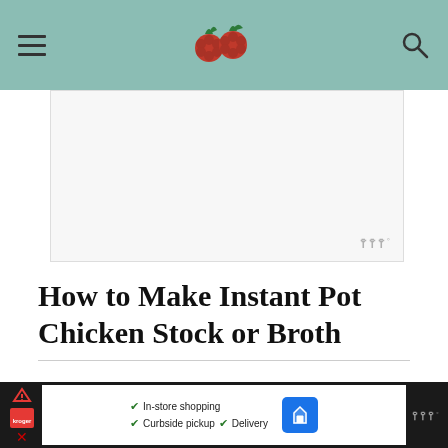[Figure (other): Advertisement placeholder block with Wunderman Thompson logo watermark in bottom-right corner]
How to Make Instant Pot Chicken Stock or Broth
First, I promise this is VERY simple. The hardest part for me, as an infrequent user of my pressure cooker, is remembering how to use it!
To make the stock, start by sauteing my bone-in chicken...
[Figure (other): Bottom advertisement strip showing In-store shopping, Curbside pickup, Delivery options with Wunderman Thompson logo]
384